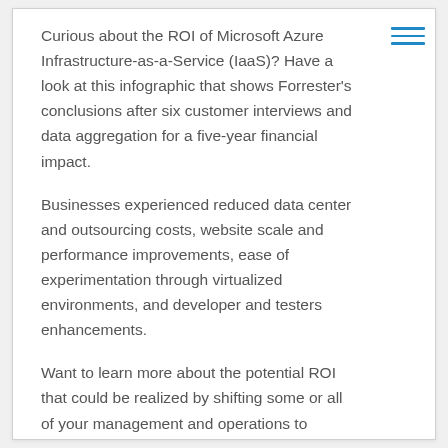Curious about the ROI of Microsoft Azure Infrastructure-as-a-Service (IaaS)? Have a look at this infographic that shows Forrester's conclusions after six customer interviews and data aggregation for a five-year financial impact.
Businesses experienced reduced data center and outsourcing costs, website scale and performance improvements, ease of experimentation through virtualized environments, and developer and testers enhancements.
Want to learn more about the potential ROI that could be realized by shifting some or all of your management and operations to Azure? Contact us today.